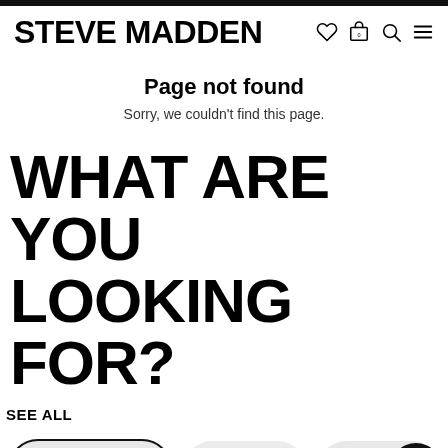STEVE MADDEN
Page not found
Sorry, we couldn't find this page.
WHAT ARE YOU LOOKING FOR?
SEE ALL
WOMEN'S
MEN'S
HANDBAGS